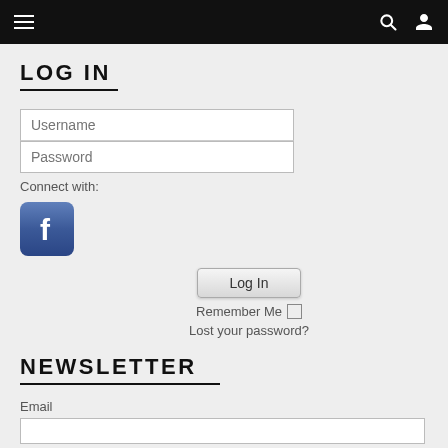Navigation bar with hamburger menu, search icon, and user icon
LOG IN
Username
Password
Connect with:
[Figure (logo): Facebook logo button - blue rounded square with white 'f' icon]
Log In
Remember Me
Lost your password?
NEWSLETTER
Email